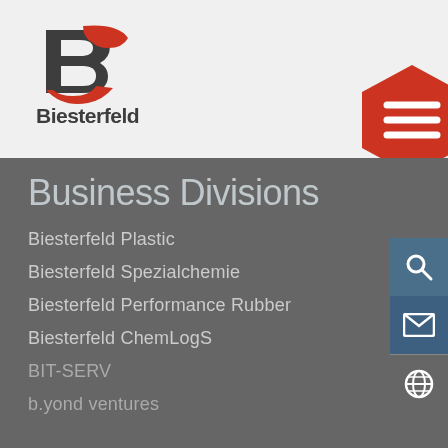[Figure (logo): Biesterfeld company logo with stylized B in dark gray and red, and bold text 'Biesterfeld' below]
[Figure (other): Red hexagon menu button with white hamburger menu lines]
Business Divisions
Biesterfeld Plastic
Biesterfeld Spezialchemie
Biesterfeld Performance Rubber
Biesterfeld ChemLogS
BIT-SERV
b.yond ventures
Service